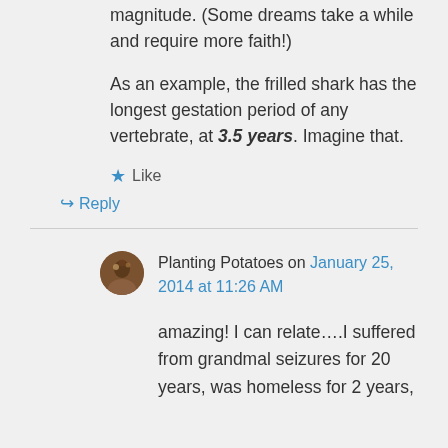magnitude. (Some dreams take a while and require more faith!)
As an example, the frilled shark has the longest gestation period of any vertebrate, at 3.5 years. Imagine that.
★ Like
↳ Reply
Planting Potatoes on January 25, 2014 at 11:26 AM
amazing! I can relate….I suffered from grandmal seizures for 20 years, was homeless for 2 years,